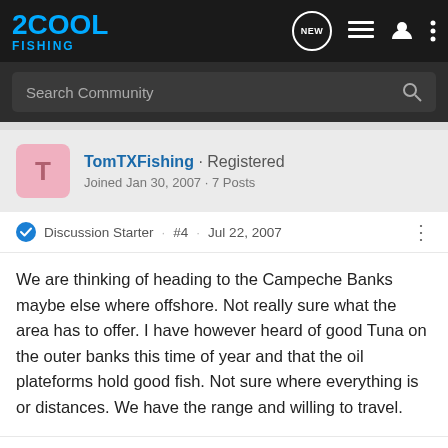2COOL FISHING
Search Community
TomTXFishing · Registered
Joined Jan 30, 2007 · 7 Posts
Discussion Starter · #4 · Jul 22, 2007
We are thinking of heading to the Campeche Banks maybe else where offshore. Not really sure what the area has to offer. I have however heard of good Tuna on the outer banks this time of year and that the oil plateforms hold good fish. Not sure where everything is or distances. We have the range and willing to travel.
Reply  Quote